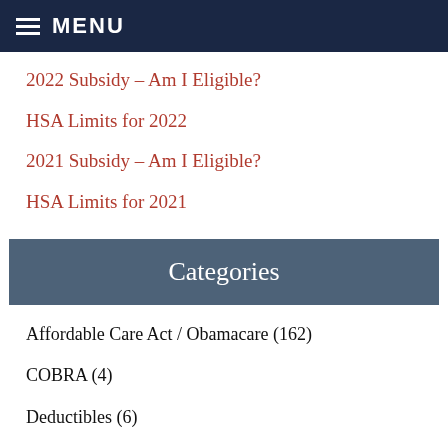MENU
2022 Subsidy – Am I Eligible?
HSA Limits for 2022
2021 Subsidy – Am I Eligible?
HSA Limits for 2021
Categories
Affordable Care Act / Obamacare (162)
COBRA (4)
Deductibles (6)
DOMA Ruling and Health Insurance Reform (1)